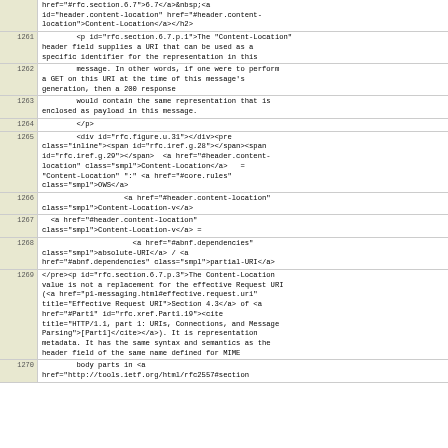| line | code |
| --- | --- |
|  | href="#rfc.section.6.7">6.7</a>&nbsp;<a id="header.content-location" href="#header.content-location">Content-Location</a></h2> |
| 1261 | <p id="rfc.section.6.7.p.1">The "Content-Location" header field supplies a URI that can be used as a specific identifier for the representation in this |
| 1262 |         message. In other words, if one were to perform a GET on this URI at the time of this message's generation, then a 200 response |
| 1263 |         would contain the same representation that is enclosed as payload in this message. |
| 1264 |         </p> |
| 1265 |         <div id="rfc.figure.u.31"></div><pre class="inline"><span id="rfc.iref.g.28"></span><span id="rfc.iref.g.29"></span>  <a href="#header.content-location" class="smpl">Content-Location</a>   = "Content-Location" ":" <a href="#core.rules" class="smpl">OWS</a> |
| 1266 |                    <a href="#header.content-location" class="smpl">Content-Location-v</a> |
| 1267 |   <a href="#header.content-location" class="smpl">Content-Location-v</a> = |
| 1268 |                      <a href="#abnf.dependencies" class="smpl">absolute-URI</a> / <a href="#abnf.dependencies" class="smpl">partial-URI</a> |
| 1269 | </pre><p id="rfc.section.6.7.p.3">The Content-Location value is not a replacement for the effective Request URI (<a href="p1-messaging.html#effective.request.uri" title="Effective Request URI">Section 4.3</a> of <a href="#Part1" id="rfc.xref.Part1.19"><cite title="HTTP/1.1, part 1: URIs, Connections, and Message Parsing">[Part1]</cite></a>). It is representation metadata. It has the same syntax and semantics as the header field of the same name defined for MIME |
| 1270 |         body parts in <a href="http://tools.ietf.org/html/rfc2557#section |